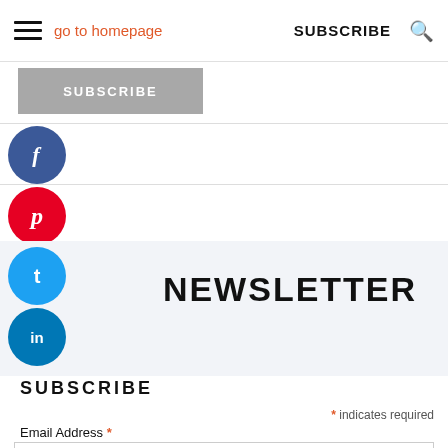go to homepage  SUBSCRIBE
SUBSCRIBE
[Figure (illustration): Facebook social share button - blue circle with white 'f' icon]
[Figure (illustration): Pinterest social share button - red circle with white 'p' icon]
[Figure (illustration): Twitter social share button - cyan circle with white bird/twitter icon]
[Figure (illustration): LinkedIn social share button - blue circle with white 'in' icon]
NEWSLETTER
SUBSCRIBE
* indicates required
Email Address *